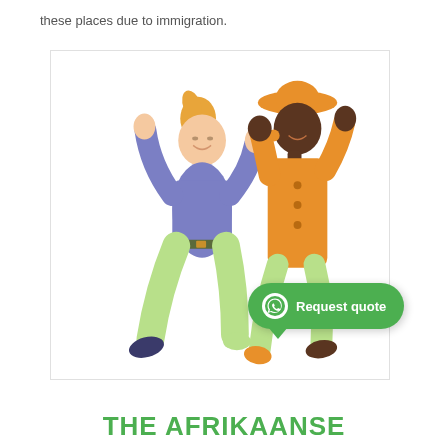these places due to immigration.
[Figure (illustration): Two women jumping joyfully and holding hands. Left woman has blonde hair in ponytail, wearing blue sweater and light green pants. Right woman wears an orange dress and orange hat.]
THE AFRIKAANSE